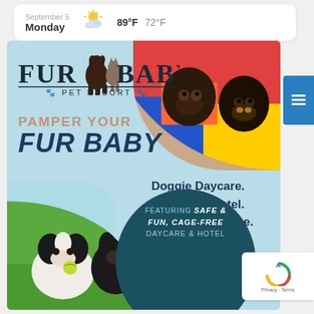September 5 Monday  89°F  72°F
[Figure (infographic): Fur Baby Pet Resort advertisement banner with light blue background. Top right shows photo of two puppies (dark Labrador and Rottweiler puppy) on colorful play equipment. Bottom left shows a Cavalier King Charles Spaniel running. Features the Fur Baby Pet Resort logo, taglines 'PAMPER YOUR FUR BABY', services list, and a dark teal circle with cage-free daycare & hotel text.]
PAMPER YOUR
FUR BABY
Doggie Daycare.
Overnight Hotel.
Specialty Boutique.
Spa Grooming.
FEATURING SAFE & FUN, CAGE-FREE DAYCARE & HOTEL